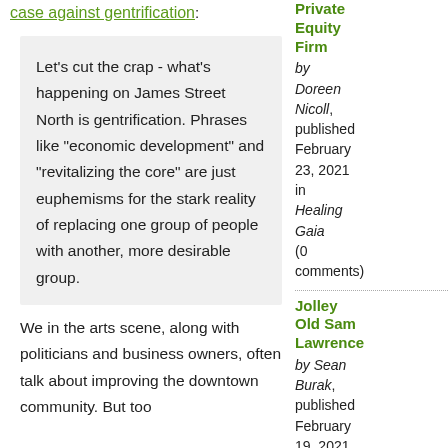case against gentrification:
Let's cut the crap - what's happening on James Street North is gentrification. Phrases like "economic development" and "revitalizing the core" are just euphemisms for the stark reality of replacing one group of people with another, more desirable group.
We in the arts scene, along with politicians and business owners, often talk about improving the downtown community. But too
Private Equity Firm
by Doreen Nicoll, published February 23, 2021 in Healing Gaia (0 comments)
Jolley Old Sam Lawrence
by Sean Burak, published February 19, 2021 in Specisl